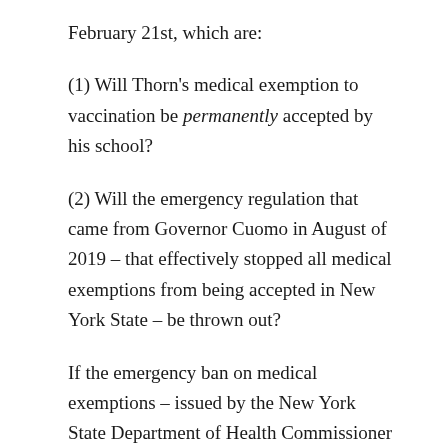February 21st, which are:
(1) Will Thorn's medical exemption to vaccination be permanently accepted by his school?
(2) Will the emergency regulation that came from Governor Cuomo in August of 2019 – that effectively stopped all medical exemptions from being accepted in New York State – be thrown out?
If the emergency ban on medical exemptions – issued by the New York State Department of Health Commissioner Howard Zucker – is overturned by Judge Doyle, it will open the door for hundreds of disabled students who are currently kicked out of school to be readmitted with their valid medical exemptions to vaccination.